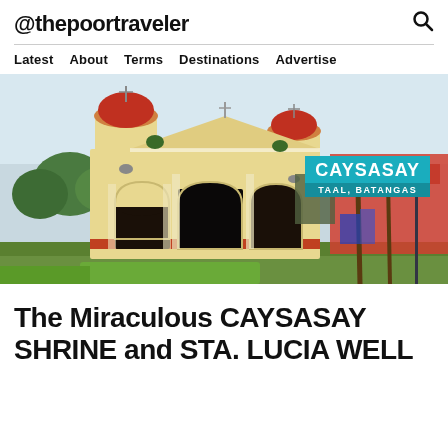@thepoortraveler
Latest  About  Terms  Destinations  Advertise
[Figure (photo): A colonial-style church with two bell towers topped with red domes, yellow-painted facade, and three arched entrances. Palm trees and greenery are visible to the right. A teal badge overlay reads CAYSASAY / TAAL, BATANGAS.]
The Miraculous CAYSASAY SHRINE and STA. LUCIA WELL